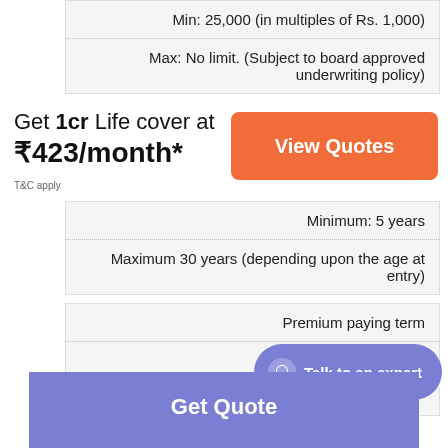| Min: 25,000 (in multiples of Rs. 1,000) |
| Max: No limit. (Subject to board approved underwriting policy) |
Get 1cr Life cover at ₹423/month*
T&C apply
View Quotes
| Minimum: 5 years |
| Maximum 30 years (depending upon the age at entry) |
| Premium paying term |
| Single /regular premium |
Talk to an expert
Get Quote